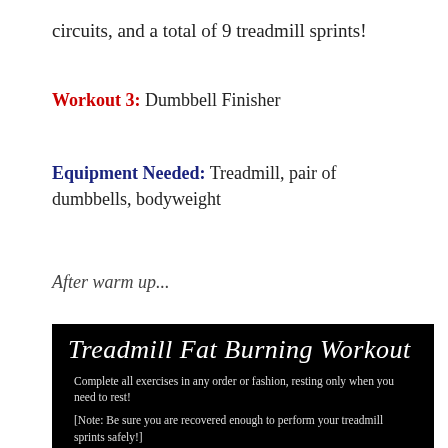circuits, and a total of 9 treadmill sprints!
Workout 3: Dumbbell Finisher
Equipment Needed: Treadmill, pair of dumbbells, bodyweight
After warm up...
[Figure (infographic): Black background workout card titled 'Treadmill Fat Burning Workout'. Includes instructions: 'Complete all exercises in any order or fashion, resting only when you need to rest!' and '[Note: Be sure you are recovered enough to perform your treadmill sprints safely!]'. Lists exercises: Squat to Press: 50 reps, Push Ups: 50 reps.]